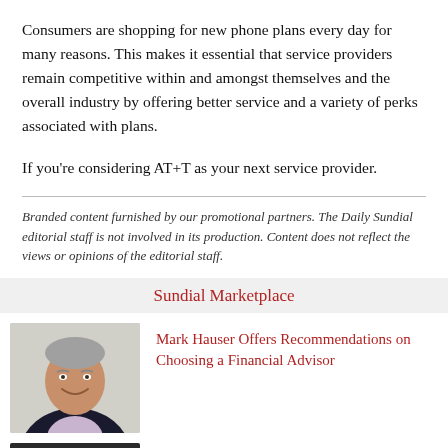Consumers are shopping for new phone plans every day for many reasons. This makes it essential that service providers remain competitive within and amongst themselves and the overall industry by offering better service and a variety of perks associated with plans.
If you’re considering AT+T as your next service provider.
Branded content furnished by our promotional partners. The Daily Sundial editorial staff is not involved in its production. Content does not reflect the views or opinions of the editorial staff.
Sundial Marketplace
[Figure (photo): Portrait photo of a smiling middle-aged man in a dark blazer]
Mark Hauser Offers Recommendations on Choosing a Financial Advisor
[Figure (photo): Circular gauge/meter labeled IMMUNITY LEVEL]
Best Probiotics for Immune System Probiotic Supplements to Boost Immune Health